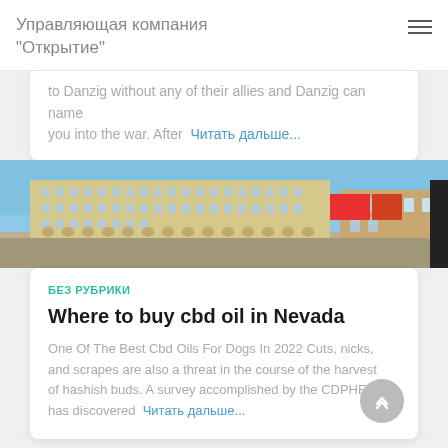Управляющая компания "Открытие"
to Danzig without any of their allies and Danzig can name you into the war. After  Читать дальше...
[Figure (photo): Street-level photo of a large Soviet-era building (multi-story, yellow facade with many windows) along a city street on a clear day. Billboards and other buildings visible on the right.]
БЕЗ РУБРИКИ
Where to buy cbd oil in Nevada
One Of The Best Cbd Oils For Dogs In 2022 Cuts, nicks, and scrapes are also a threat in the course of the harvest of hashish buds. A survey accomplished by the CDPHE has discovered  Читать дальше...